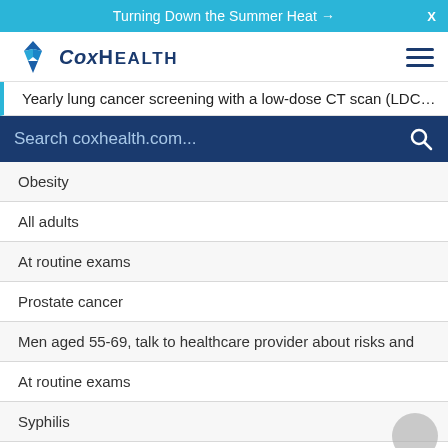Turning Down the Summer Heat →
[Figure (logo): CoxHealth logo with blue star/diamond icon and text COX HEALTH]
Yearly lung cancer screening with a low-dose CT scan (LDC…
Search coxhealth.com...
| Obesity |
| All adults |
| At routine exams |
| Prostate cancer |
| Men aged 55-69, talk to healthcare provider about risks and |
| At routine exams |
| Syphilis |
| At routine exams (partial) |